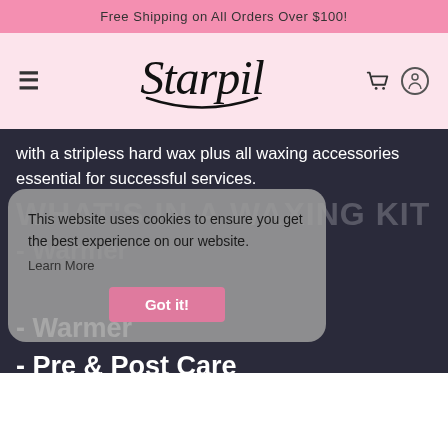Free Shipping on All Orders Over $100!
[Figure (logo): Starpil logo in cursive/italic font with smile underline arc, on pink background]
with a stripless hard wax plus all waxing accessories essential for successful services.
This website uses cookies to ensure you get the best experience on our website. Learn More
WHAT'S IN A WAXING KIT
- Warmer
- Pre & Post Care
- Spatulas